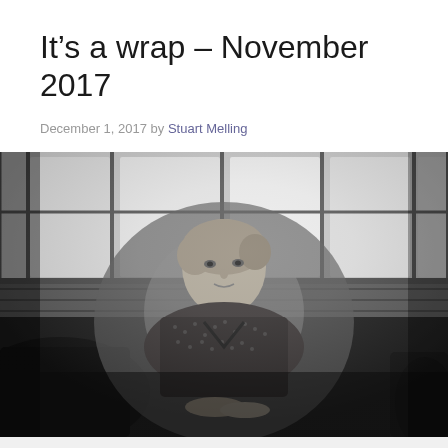It's a wrap – November 2017
December 1, 2017 by Stuart Melling
[Figure (photo): Black and white photograph of a woman with short blonde hair sitting on a dark leather couch/sofa, wearing a patterned short-sleeve top. She is looking at the camera with a slight smile. Behind her are large industrial-style windows letting in bright light, and a brick wall is visible. The image has a moody, high-contrast black and white aesthetic.]